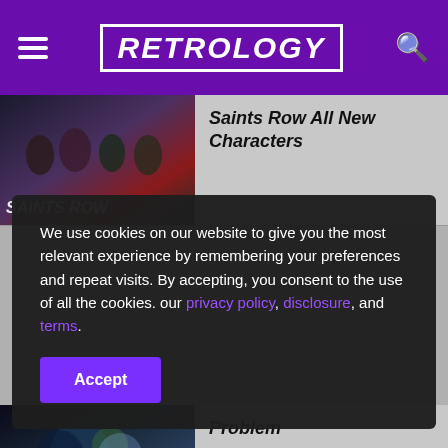RETROLOGY
Saints Row All New Characters
[Figure (photo): Saints Row game promotional image with group of characters]
We use cookies on our website to give you the most relevant experience by remembering your preferences and repeat visits. By accepting, you consent to the use of all the cookies. our privacy policy, disclosure, and terms.
Problem
[Figure (photo): Combat scene screenshot from a game]
Fixing Saints Row low FPS issue, stuttering and frame...
[Figure (photo): Saints Row characters in action scene]